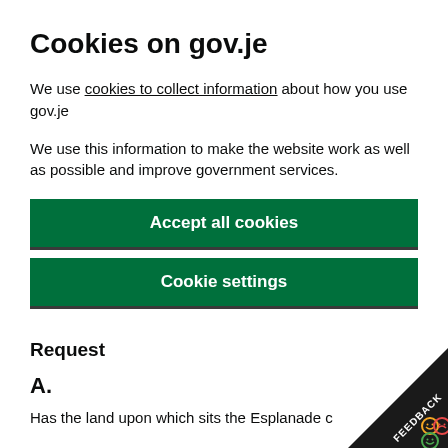Cookies on gov.je
We use cookies to collect information about how you use gov.je
We use this information to make the website work as well as possible and improve government services.
Accept all cookies
Cookie settings
Request
A.
Has the land upon which sits the Esplanade c